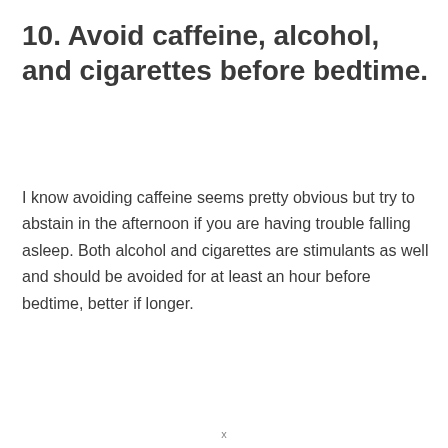10. Avoid caffeine, alcohol, and cigarettes before bedtime.
I know avoiding caffeine seems pretty obvious but try to abstain in the afternoon if you are having trouble falling asleep. Both alcohol and cigarettes are stimulants as well and should be avoided for at least an hour before bedtime, better if longer.
x